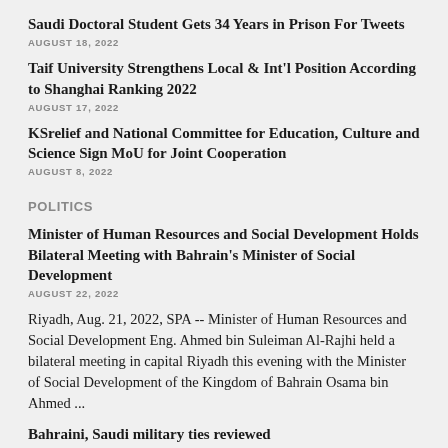Saudi Doctoral Student Gets 34 Years in Prison For Tweets
AUGUST 18, 2022
Taif University Strengthens Local & Int'l Position According to Shanghai Ranking 2022
AUGUST 17, 2022
KSrelief and National Committee for Education, Culture and Science Sign MoU for Joint Cooperation
AUGUST 8, 2022
POLITICS
Minister of Human Resources and Social Development Holds Bilateral Meeting with Bahrain's Minister of Social Development
AUGUST 22, 2022
Riyadh, Aug. 21, 2022, SPA -- Minister of Human Resources and Social Development Eng. Ahmed bin Suleiman Al-Rajhi held a bilateral meeting in capital Riyadh this evening with the Minister of Social Development of the Kingdom of Bahrain Osama bin Ahmed ...
Bahraini, Saudi military ties reviewed
AUGUST 21, 2022